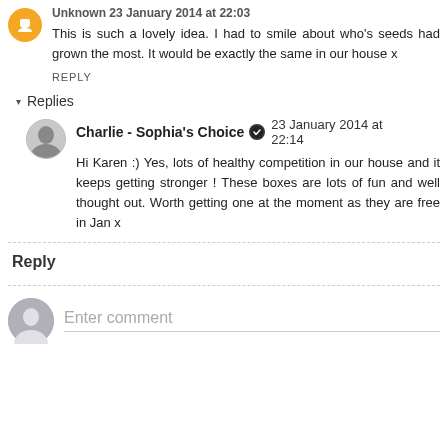Unknown 23 January 2014 at 22:03
This is such a lovely idea. I had to smile about who's seeds had grown the most. It would be exactly the same in our house x
REPLY
Replies
Charlie - Sophia's Choice  23 January 2014 at 22:14
Hi Karen :) Yes, lots of healthy competition in our house and it keeps getting stronger ! These boxes are lots of fun and well thought out. Worth getting one at the moment as they are free in Jan x
Reply
Enter comment